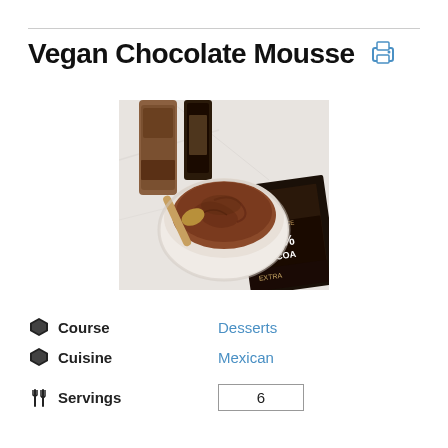Vegan Chocolate Mousse
[Figure (photo): A bowl of chocolate mousse with a wooden spoon, surrounded by Lindt 85% cocoa chocolate packaging and cocoa powder containers on a marble surface.]
Course    Desserts
Cuisine    Mexican
Servings    6